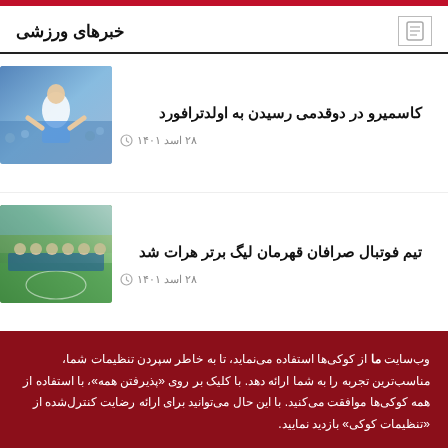خبرهای ورزشی
کاسمیرو در دوقدمی رسیدن به اولدترافورد
۲۸ اسد ۱۴۰۱
[Figure (photo): Football player in white jersey applauding in a stadium]
تیم فوتبال صرافان قهرمان لیگ برتر هرات شد
۲۸ اسد ۱۴۰۱
[Figure (photo): Football team posing on a green field in a stadium]
وب‌سایت ما از کوکی‌ها استفاده می‌نماید، تا به خاطر سپردن تنظیمات شما، مناسب‌ترین تجربه را به شما ارائه دهد. با کلیک بر روی «پذیرفتن همه»، با استفاده از همه کوکی‌ها موافقت می‌کنید. با این حال می‌توانید برای ارائه رضایت کنترل‌شده از «تنظیمات کوکی» بازدید نمایید.
پذیرفتن همه
تنظیمات کوکی